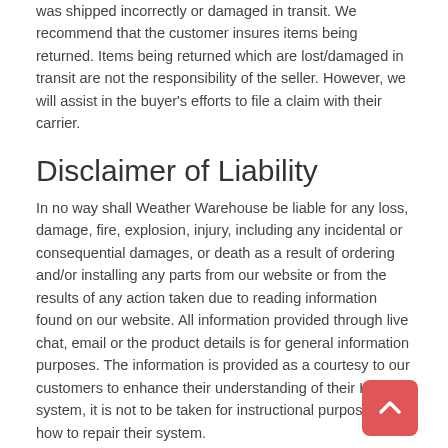was shipped incorrectly or damaged in transit. We recommend that the customer insures items being returned. Items being returned which are lost/damaged in transit are not the responsibility of the seller. However, we will assist in the buyer's efforts to file a claim with their carrier.
Disclaimer of Liability
In no way shall Weather Warehouse be liable for any loss, damage, fire, explosion, injury, including any incidental or consequential damages, or death as a result of ordering and/or installing any parts from our website or from the results of any action taken due to reading information found on our website. All information provided through live chat, email or the product details is for general information purposes. The information is provided as a courtesy to our customers to enhance their understanding of their HVAC system, it is not to be taken for instructional purposes on how to repair their system.
Disclaimer of Liability for ordering and installing parts
Weather Warehouse suggests having all parts, accessories and